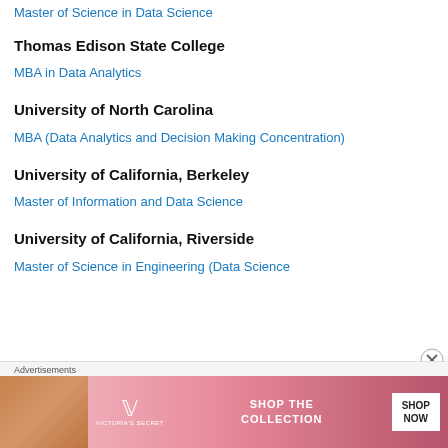Master of Science in Data Science
Thomas Edison State College
MBA in Data Analytics
University of North Carolina
MBA (Data Analytics and Decision Making Concentration)
University of California, Berkeley
Master of Information and Data Science
University of California, Riverside
Master of Science in Engineering (Data Science
Advertisements